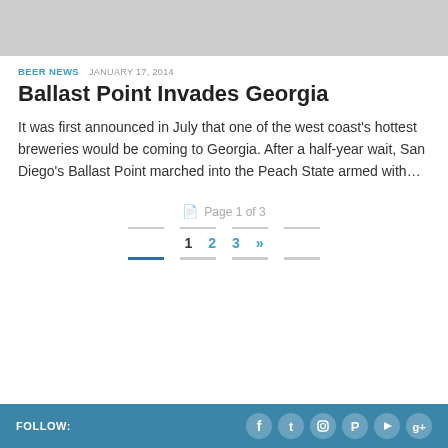[Figure (photo): Gray placeholder image at top of page]
BEER NEWS  JANUARY 17, 2014
Ballast Point Invades Georgia
It was first announced in July that one of the west coast's hottest breweries would be coming to Georgia. After a half-year wait, San Diego's Ballast Point marched into the Peach State armed with…
Page 1 of 3
FOLLOW:  [Facebook] [Twitter] [Instagram] [Pinterest] [YouTube] [Google+]